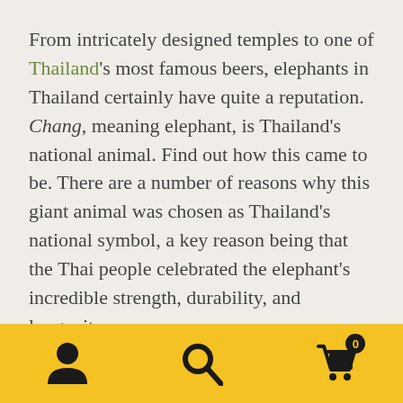From intricately designed temples to one of Thailand's most famous beers, elephants in Thailand certainly have quite a reputation. Chang, meaning elephant, is Thailand's national animal. Find out how this came to be. There are a number of reasons why this giant animal was chosen as Thailand's national symbol, a key reason being that the Thai people celebrated the elephant's incredible strength, durability, and longevity.
The white elephant (actually more pink in color) is a symbol of royalty in Thailand as well. According to Buddhist tradition, on the eve of Buddha's birth, his mother had a dream and was given a
[Figure (other): Yellow footer navigation bar with three icons: user/person icon, search/magnifier icon, and shopping cart icon with badge showing 0]